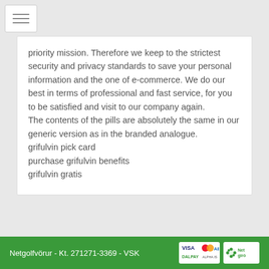[Figure (other): Hamburger/toggle menu icon button in top-left corner]
priority mission. Therefore we keep to the strictest security and privacy standards to save your personal information and the one of e-commerce. We do our best in terms of professional and fast service, for you to be satisfied and visit to our company again.
The contents of the pills are absolutely the same in our generic version as in the branded analogue.
grifulvin pick card
purchase grifulvin benefits
grifulvin gratis
Netgolfvörur - Kt. 271271-3369 - VSK